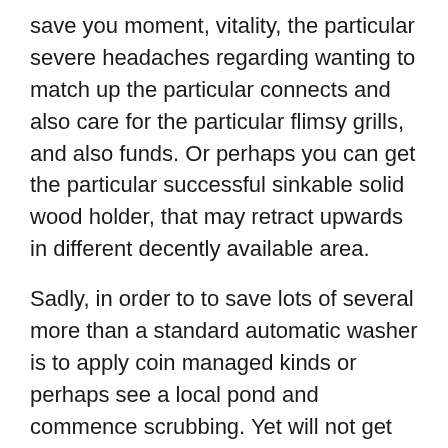save you moment, vitality, the particular severe headaches regarding wanting to match up the particular connects and also care for the particular flimsy grills, and also funds. Or perhaps you can get the particular successful sinkable solid wood holder, that may retract upwards in different decently available area.
Sadly, in order to to save lots of several more than a standard automatic washer is to apply coin managed kinds or perhaps see a local pond and commence scrubbing. Yet will not get worried, in order to spend less at the start get yourself a employed equipment. You may get a single confidently by picking coming from trustworthy brand names just like Miele, Maytag, Whirlpool, Kenmore,